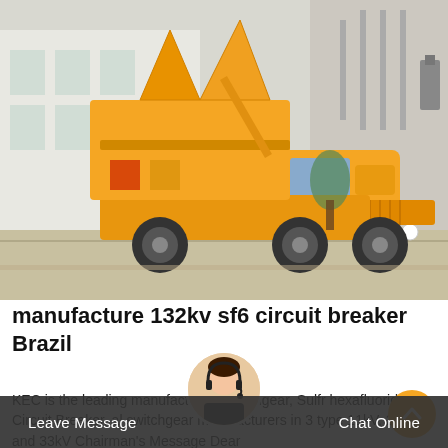[Figure (photo): Yellow utility truck with elevated boom/crane equipment parked in front of a building and near electrical substation infrastructure]
manufacture 132kv sf6 circuit breaker Brazil
KEC is the leading manufacturer of Switchgear, Sulfr hexafluoride Circuit Breaker, al switchgear manufacturers in 3 type 11kV, 22kV and 33kV Chairman's Message Dear
Leave Message    Chat Online